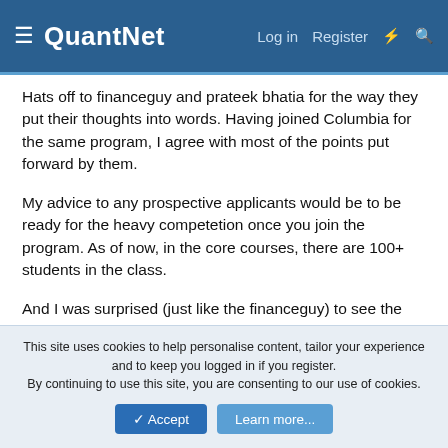QuantNet — Log in  Register
Hats off to financeguy and prateek bhatia for the way they put their thoughts into words. Having joined Columbia for the same program, I agree with most of the points put forward by them.
My advice to any prospective applicants would be to be ready for the heavy competetion once you join the program. As of now, in the core courses, there are 100+ students in the class.
And I was surprised (just like the financeguy) to see the number of Americans in the class (definitely less than 10 in a class of 150+ which includes OR, IE and EMS). Also, you will get to hear a lot of Chinese (from the ppl sitting around you). You have option to learn Chinese to enhance your skill set.
This site uses cookies to help personalise content, tailor your experience and to keep you logged in if you register.
By continuing to use this site, you are consenting to our use of cookies.